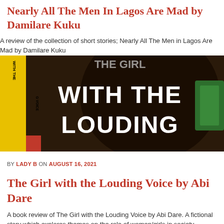Nearly All The Men In Lagos Are Mad by Damilare Kuku
A review of the collection of short stories; Nearly All The Men in Lagos Are Mad by Damilare Kuku
[Figure (photo): Book cover of 'The Girl with the Louding Voice' showing bold white text on dark background with yellow spine elements]
BY LADY B ON AUGUST 16, 2021
The Girl with the Louding Voice by Abi Dare
A book review of The Girl with the Louding Voice by Abi Dare. A fictional story which explores themes on the role of women/girls in society, marriage and fertility.